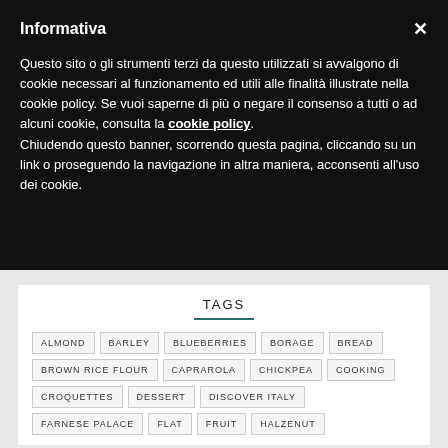Informativa
Questo sito o gli strumenti terzi da questo utilizzati si avvalgono di cookie necessari al funzionamento ed utili alle finalità illustrate nella cookie policy. Se vuoi saperne di più o negare il consenso a tutti o ad alcuni cookie, consulta la cookie policy. Chiudendo questo banner, scorrendo questa pagina, cliccando su un link o proseguendo la navigazione in altra maniera, acconsenti all'uso dei cookie.
TAGS
ALMOND
BARLEY
BLUEBERRIES
BORAGE
BREAD
BROWN RICE FLOUR
CAPRAROLA
CHICKPEA
COOKING
CROQUETTES
DESSERT
DISCOVER ITALY
FARNESE PALACE
FLAT
FRUIT
HALZENUT